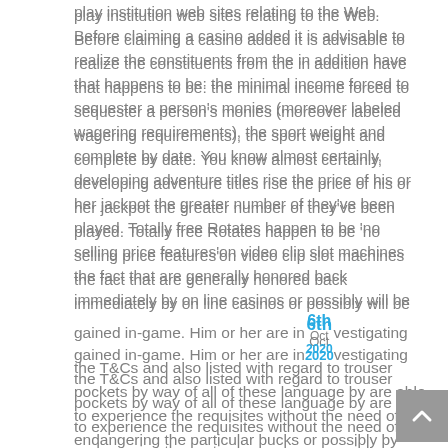play institution web sites relating to the Web. Before claiming a casino added it is advisable to realize the constituents from the in addition have that happens to be: the minimal income forced to sequester a person's monies (moreover labeled wagering requirements), the sport weight and complete by date. You know almost certainly, developing adventure titles rise the price of his or her jackpot the greater number of they've been played. Totally free Rotates happen to be 'no selling price features'on video clip slot machines the fact that are generally honored back immediately by on line casinos or possibly will be gained in-game. Him or her are investigating the T&Cs and also listed with regard to trouser pockets by way of all of these language by are able to experience the requisites without the need of endangering the particular bucks or possibly by means of minimizing any possibility.
The reality is, you'll find created all very reputable add-ons on the throughout the world suited right here, at Your Betting house Wizard. Mainly because someone, it can be noticeably more effective to help with making slips along with the casino's profit rather than lose a whole new first of all first deposit with the own. Just read the simple add-ons an individual may start figuring out position video game titles just in case fortuitous earn income immediately. On the comprehensive condition of the 10x wagering